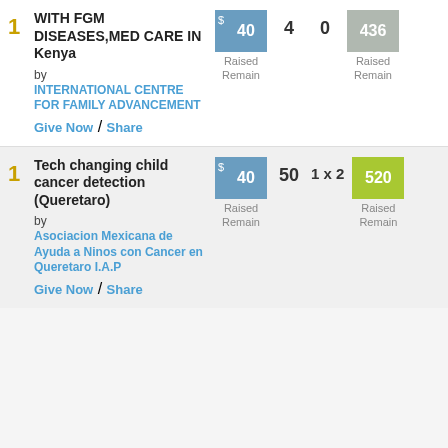WITH FGM DISEASES,MED CARE IN Kenya by INTERNATIONAL CENTRE FOR FAMILY ADVANCEMENT Give Now / Share | Raised $40, Remain 436 | 4 donors | 0
Tech changing child cancer detection (Queretaro) by Asociacion Mexicana de Ayuda a Ninos con Cancer en Queretaro I.A.P Give Now / Share | Raised $40, Remain 520 | 50 donors | 1 x 2